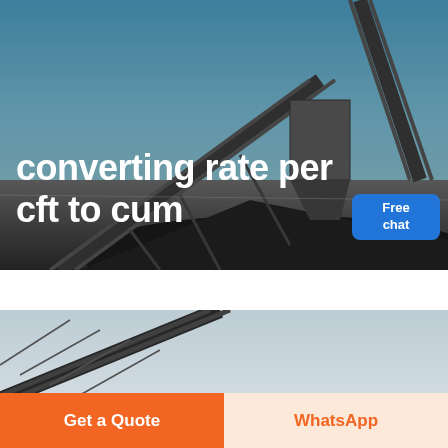[Figure (photo): Industrial mining conveyor belt machinery photographed against a clear blue sky, with gravel/ore pile in the foreground. Text 'converting rate per cft to cum' overlaid in large white bold font.]
converting rate per cft to cum
[Figure (photo): Second industrial conveyor belt structure photographed against a grey-white sky, partial view cropped at the bottom of the section.]
Get a Quote
WhatsApp